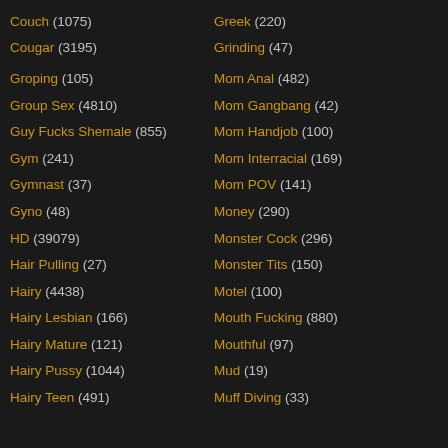Couch (1075)
Cougar (3195)
Groping (105)
Group Sex (4810)
Guy Fucks Shemale (855)
Gym (241)
Gymnast (37)
Gyno (48)
HD (39079)
Hair Pulling (27)
Hairy (4438)
Hairy Lesbian (166)
Hairy Mature (121)
Hairy Pussy (1044)
Hairy Teen (491)
Greek (220)
Grinding (47)
Mom Anal (482)
Mom Gangbang (42)
Mom Handjob (100)
Mom Interracial (169)
Mom POV (141)
Money (290)
Monster Cock (296)
Monster Tits (150)
Motel (100)
Mouth Fucking (880)
Mouthful (97)
Mud (19)
Muff Diving (33)